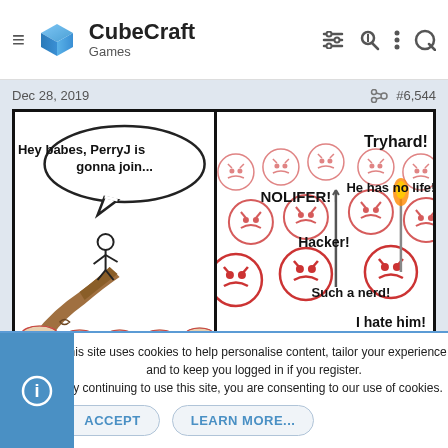CubeCraft Games
Dec 28, 2019   #6,544
[Figure (illustration): A two-panel internet meme. Left panel: a stick figure standing on a cliff edge with a speech bubble saying 'Hey babes, PerryJ is gonna join...' Right panel: a crowd of angry cartoon faces with text labels: 'Tryhard!', 'NOLIFER!', 'He has no life!', 'Hacker!', 'Such a nerd!', 'I hate him!']
This site uses cookies to help personalise content, tailor your experience and to keep you logged in if you register.
By continuing to use this site, you are consenting to our use of cookies.
ACCEPT   LEARN MORE...